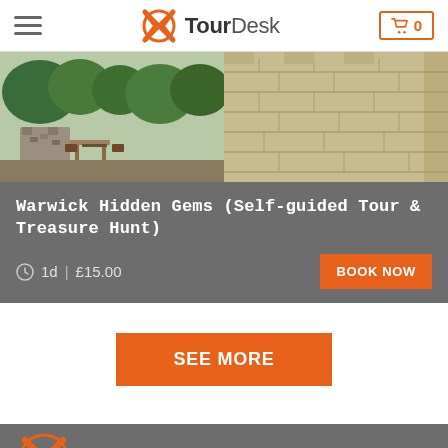TourDesk
[Figure (photo): Two-panel photo showing Warwick castle grounds: left panel shows stone ruins with outdoor seating and green trees, right panel shows stone tower wall close-up]
Warwick Hidden Gems (Self-guided Tour & Treasure Hunt)
1d | £15.00
BOOK NOW
SEE MORE
TourDesk